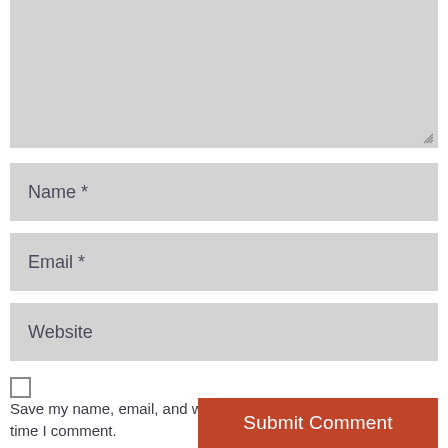[Figure (screenshot): Textarea input field with light gray background and resize handle in bottom-right corner]
Name *
Email *
Website
Save my name, email, and website in this browser for the next time I comment.
Submit Comment